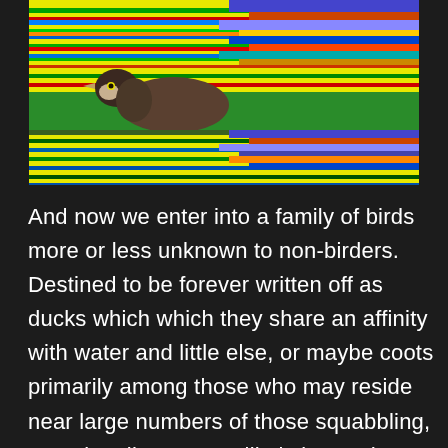[Figure (photo): A grebe (duck-like water bird) swimming on colorful, glitch-art styled water with vivid horizontal streaks of yellow, green, blue, and red.]
And now we enter into a family of birds more or less unknown to non-birders. Destined to be forever written off as ducks which which they share an affinity with water and little else, or maybe coots primarily among those who may reside near large numbers of those squabbling, aquatic rails, or more likely ignored as they slink back into the